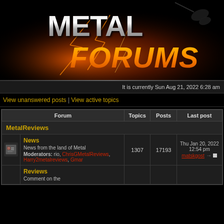[Figure (logo): Metal Forums logo banner: silver metallic 'METAL' text and orange/gold 'FORUMS' text with lightning bolts and fire effects on black background]
It is currently Sun Aug 21, 2022 6:28 am
View unanswered posts | View active topics
| Forum | Topics | Posts | Last post |
| --- | --- | --- | --- |
| MetalReviews |  |  |  |
| News
News from the land of Metal
Moderators: rio, ChrisGMetalReviews, Harry2metalreviews, Gmar | 1307 | 17193 | Thu Jan 20, 2022 12:54 pm
matskgost |
| Reviews
Comment on the |  |  |  |